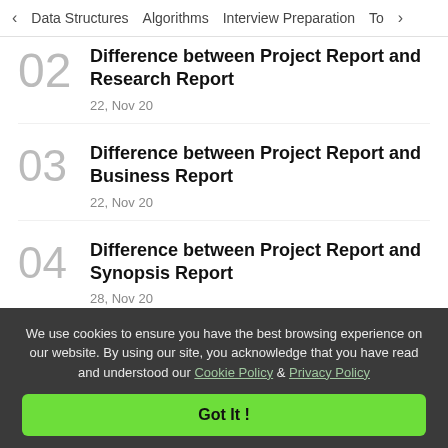< Data Structures   Algorithms   Interview Preparation   To>
02 Difference between Project Report and Research Report — 22, Nov 20
03 Difference between Project Report and Business Report — 22, Nov 20
04 Difference between Project Report and Synopsis Report — 28, Nov 20
We use cookies to ensure you have the best browsing experience on our website. By using our site, you acknowledge that you have read and understood our Cookie Policy & Privacy Policy
Got It !